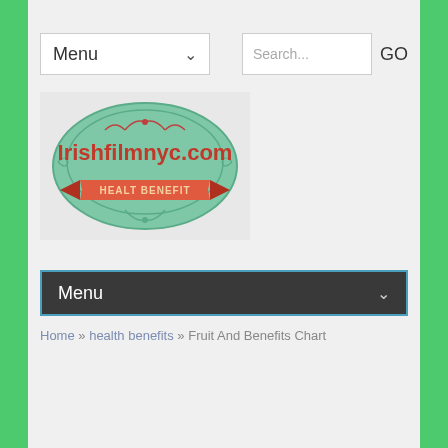Menu
[Figure (logo): Irishfilmnyc.com health benefit logo — teal oval badge with red ribbon banner reading HEALT BENEFIT]
Menu
Home » health benefits » Fruit And Benefits Chart